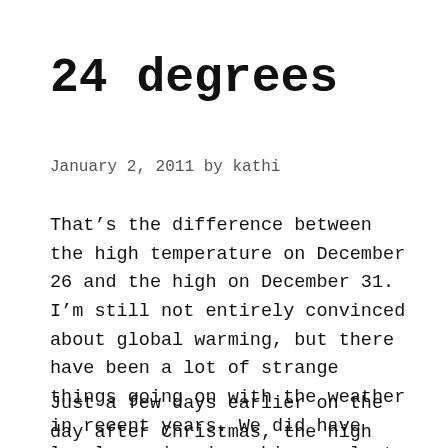24 degrees
January 2, 2011 by kathi
That’s the difference between the high temperature on December 26 and the high on December 31. I’m still not entirely convinced about global warming, but there have been a lot of strange things going on with the weather in recent years. We did have local warming in a big way last week, with a high of 55°F on December 31. That is pretty unnatural for the Chicago area.
Just a few days earlier on the day after Christmas, the high for the day was 31°F, and